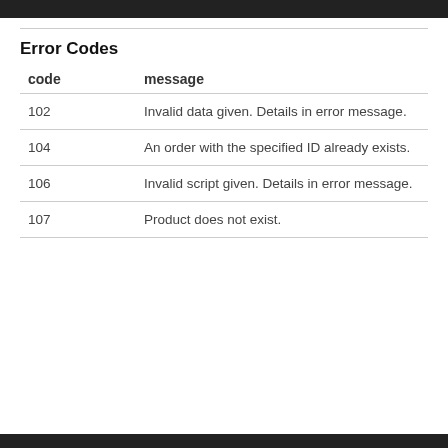Error Codes
| code | message |
| --- | --- |
| 102 | Invalid data given. Details in error message. |
| 104 | An order with the specified ID already exists. |
| 106 | Invalid script given. Details in error message. |
| 107 | Product does not exist. |